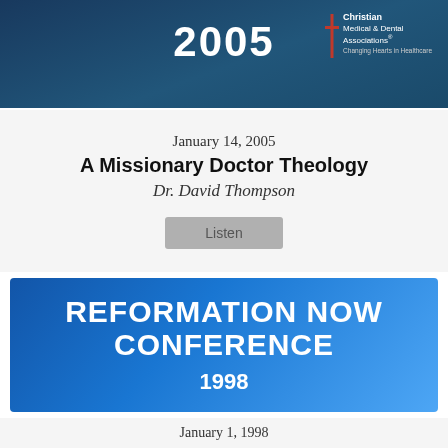2005
January 14, 2005
A Missionary Doctor Theology
Dr. David Thompson
[Figure (illustration): Reformation Now Conference 1998 banner with blue gradient background and bold white text]
January 1, 1998